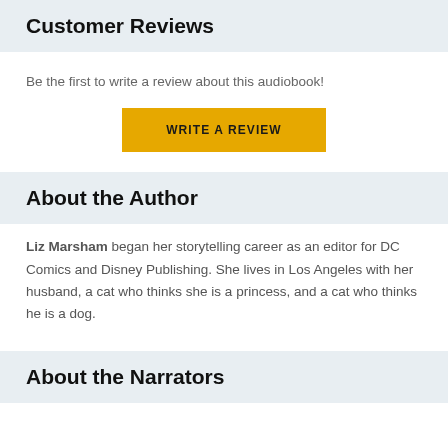Customer Reviews
Be the first to write a review about this audiobook!
[Figure (other): Yellow button labeled WRITE A REVIEW]
About the Author
Liz Marsham began her storytelling career as an editor for DC Comics and Disney Publishing. She lives in Los Angeles with her husband, a cat who thinks she is a princess, and a cat who thinks he is a dog.
About the Narrators